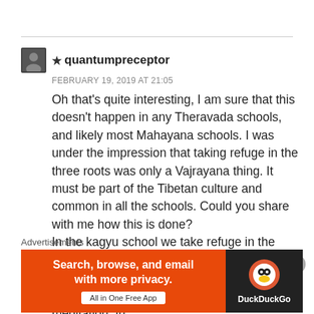★ quantumpreceptor
FEBRUARY 19, 2019 AT 21:05
Oh that's quite interesting, I am sure that this doesn't happen in any Theravada schools, and likely most Mahayana schools. I was under the impression that taking refuge in the three roots was only a Vajrayana thing. It must be part of the Tibetan culture and common in all the schools. Could you share with me how this is done? In the kagyu school we take refuge in the Buddha dharma sangha and the lama ( who can be understood to be the representative of mind and protection) in the beginning of every meditation. In
Advertisements
[Figure (infographic): DuckDuckGo advertisement banner: orange background with text 'Search, browse, and email with more privacy. All in One Free App' and DuckDuckGo logo on dark right panel]